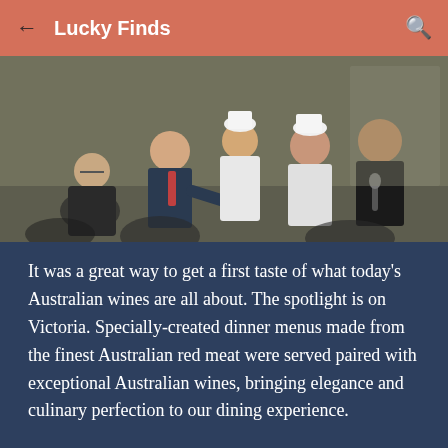Lucky Finds
[Figure (photo): Group of people at a dining event; men in suits shake hands with chefs in white uniforms on a stage or presentation area, with curtains in the background.]
It was a great way to get a first taste of what today's Australian wines are all about. The spotlight is on Victoria. Specially-created dinner menus made from the finest Australian red meat were served paired with exceptional Australian wines, bringing elegance and culinary perfection to our dining experience.